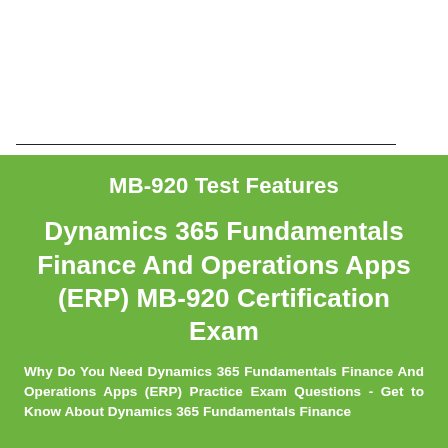MB-920 Test Features
Dynamics 365 Fundamentals Finance And Operations Apps (ERP) MB-920 Certification Exam
Why Do You Need Dynamics 365 Fundamentals Finance And Operations Apps (ERP) Practice Exam Questions - Get to Know About Dynamics 365 Fundamentals Finance